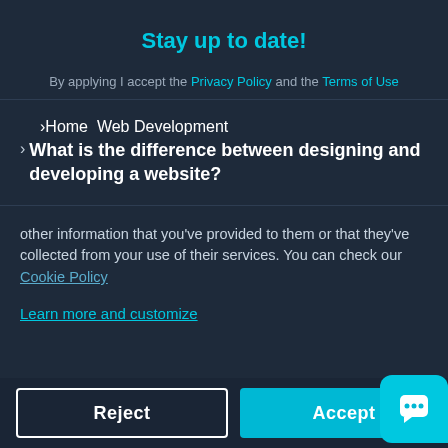Stay up to date!
By applying I accept the Privacy Policy and the Terms of Use
> Home > Web Development
What is the difference between designing and developing a website?
other information that you've provided to them or that they've collected from your use of their services. You can check our Cookie Policy
Learn more and customize
Reject
Accept